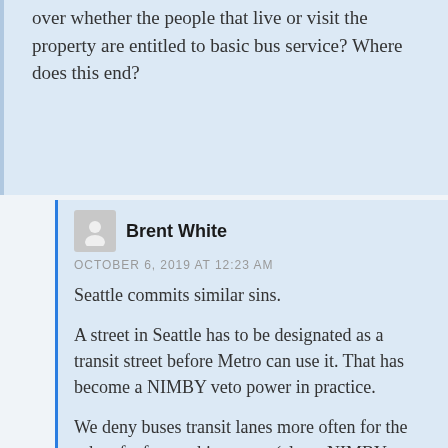over whether the people that live or visit the property are entitled to basic bus service? Where does this end?
Brent White
OCTOBER 6, 2019 AT 12:23 AM

Seattle commits similar sins.

A street in Seattle has to be designated as a transit street before Metro can use it. That has become a NIMBY veto power in practice.

We deny buses transit lanes more often for the sake of a few parking spots (also a NIMBY veto power over transit lanes) than